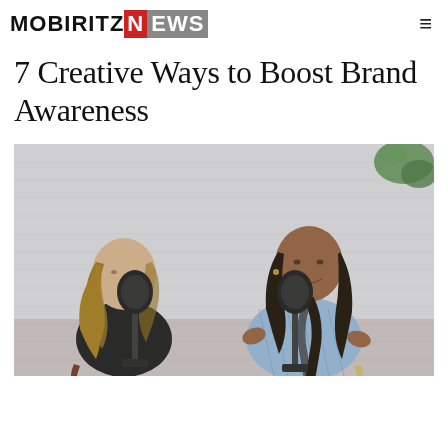MOBIRITZ NEWS
7 Creative Ways to Boost Brand Awareness
[Figure (photo): Two women sitting facing each other in a podcast recording setup with microphones in front of them, against a white brick wall background with a plant visible in the upper right. The woman on the left has long wavy brown/blonde hair and is wearing a black outfit, smiling. The woman on the right has long dark braided hair and is wearing a light blue striped shirt, speaking with hands open.]